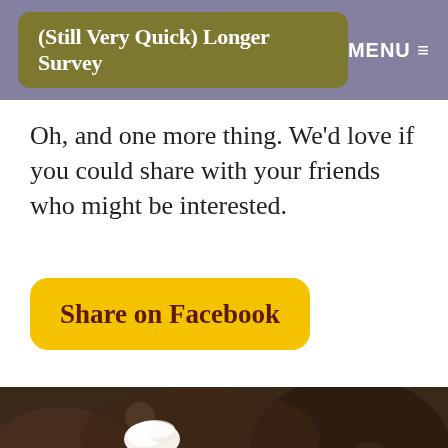(Still Very Quick) Longer Survey | MENU
Oh, and one more thing. We'd love if you could share with your friends who might be interested.
Share on Facebook
[Figure (photo): Two glasses of beer with foam tops on a bar, bokeh background]